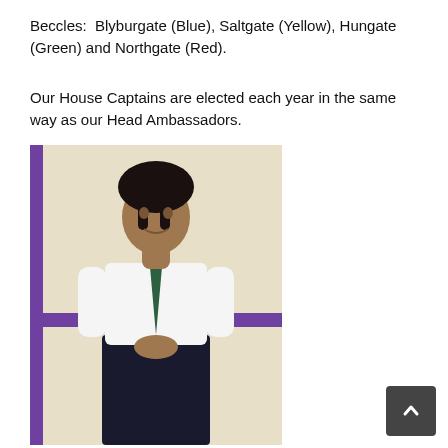Beccles:  Blyburgate (Blue), Saltgate (Yellow), Hungate (Green) and Northgate (Red).
Our House Captains are elected each year in the same way as our Head Ambassadors.
[Figure (photo): A student in school uniform — white shirt, dark green tie, dark skirt — standing in front of a cream wall with a purple horizontal stripe and purple vertical bar on the left side.]